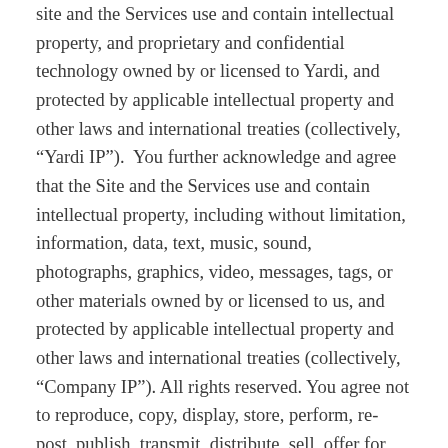site and the Services use and contain intellectual property, and proprietary and confidential technology owned by or licensed to Yardi, and protected by applicable intellectual property and other laws and international treaties (collectively, “Yardi IP”).  You further acknowledge and agree that the Site and the Services use and contain intellectual property, including without limitation, information, data, text, music, sound, photographs, graphics, video, messages, tags, or other materials owned by or licensed to us, and protected by applicable intellectual property and other laws and international treaties (collectively, “Company IP”). All rights reserved. You agree not to reproduce, copy, display, store, perform, re-post, publish, transmit, distribute, sell, offer for sale, license, modify, create derivative works, or otherwise use or exploit for any commercial purposes any or all of the Yardi IP or Company IP, the Site or access to the Site in any